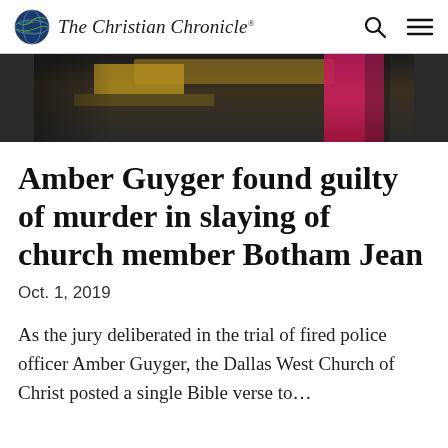The Christian Chronicle
[Figure (photo): Partial photo showing a dark interior scene with golden/yellow text or signage visible on the left, and a person in a bright pink/magenta jacket on the right edge.]
Amber Guyger found guilty of murder in slaying of church member Botham Jean
Oct. 1, 2019
As the jury deliberated in the trial of fired police officer Amber Guyger, the Dallas West Church of Christ posted a single Bible verse to...